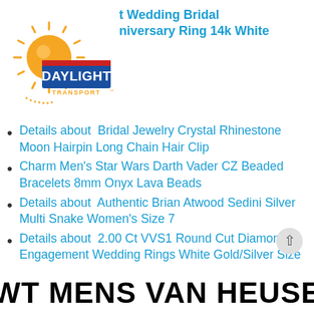[Figure (logo): Daylight Transport company logo with orange sun graphic and blue/red text]
t Wedding Bridal
niversary Ring 14k White
Details about  Bridal Jewelry Crystal Rhinestone Moon Hairpin Long Chain Hair Clip
Charm Men's Star Wars Darth Vader CZ Beaded Bracelets 8mm Onyx Lava Beads
Details about  Authentic Brian Atwood Sedini Silver Multi Snake Women's Size 7
Details about  2.00 Ct VVS1 Round Cut Diamond Engagement Wedding Rings White Gold/Silver Size
NWT MENS VAN HEUSEN